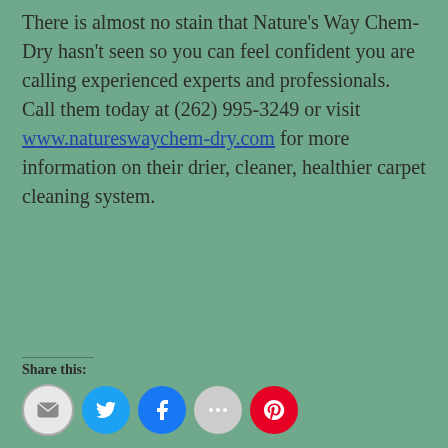There is almost no stain that Nature's Way Chem-Dry hasn't seen so you can feel confident you are calling experienced experts and professionals. Call them today at (262) 995-3249 or visit www.natureswaychem-dry.com for more information on their drier, cleaner, healthier carpet cleaning system.
Share this: